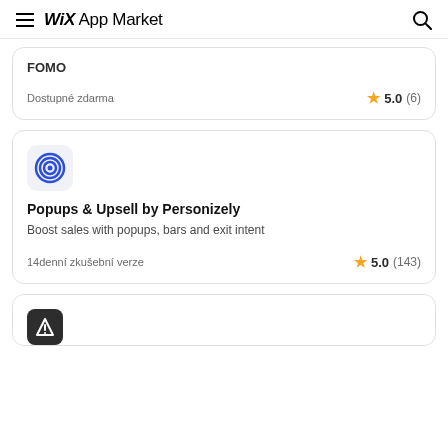Wix App Market
FOMO
Dostupné zdarma
5.0 (6)
[Figure (logo): Personizely app icon - concentric blue circles target logo on light grey rounded background]
Popups & Upsell by Personizely
Boost sales with popups, bars and exit intent
14denní zkušební verze
5.0 (143)
[Figure (logo): Partially visible app icon at bottom of page]